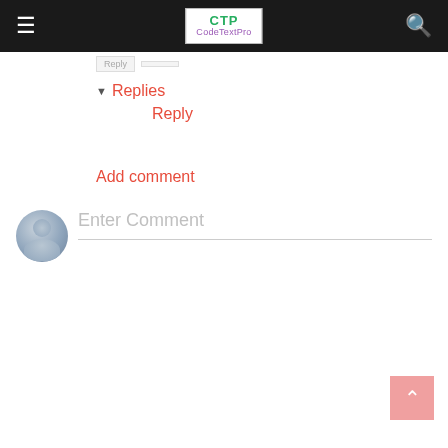CTP CodeTextPro
Reply
▾ Replies
    Reply
Add comment
[Figure (illustration): Default user avatar — circular grey silhouette with head and shoulders]
Enter Comment